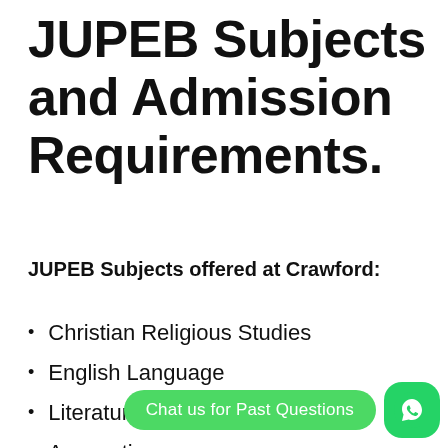JUPEB Subjects and Admission Requirements.
JUPEB Subjects offered at Crawford:
Christian Religious Studies
English Language
Literature in English
Accounting
Business Studies
Economics
Government
Mathematics
Biology
Chemistry